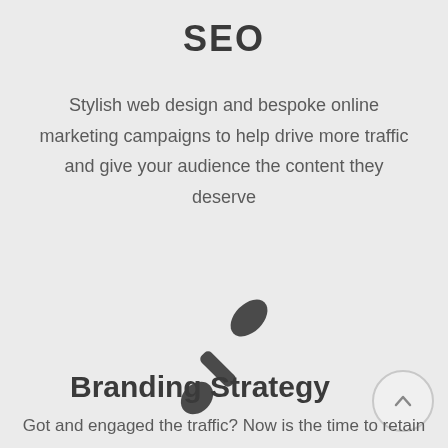SEO
Stylish web design and bespoke online marketing campaigns to help drive more traffic and give your audience the content they deserve
[Figure (illustration): A paintbrush icon rendered in dark gray, tilted diagonally, representing branding/design.]
Branding Strategy
Got and engaged the traffic? Now is the time to retain the traffic with a well crafted brand that talks to your